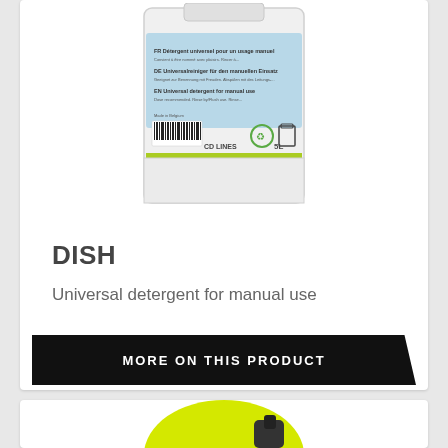[Figure (photo): A 5-liter white/clear plastic container with a light blue label reading 'CD LINES' and 'EN Universal detergent for manual use', with a barcode and recycling symbol visible on the front.]
DISH
Universal detergent for manual use
MORE ON THIS PRODUCT
[Figure (photo): Partial view of a yellow container/canister with a dark handle/spout visible at the bottom edge of the page.]